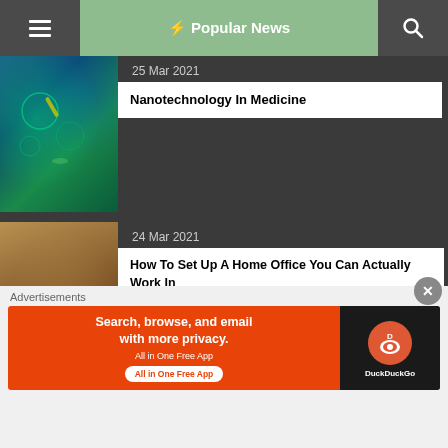≡  ⚡ Popular News  🔍
25 Mar 2021
Nanotechnology In Medicine
24 Mar 2021
How To Set Up A Home Office You Can Actually Work In
20 Mar 2021
TIMBUR: A Digital Fabrication Company That Pioneered CNC Manufacturing For Interior Design – Molecule Online Launch
Advertisements
[Figure (screenshot): DuckDuckGo advertisement banner: Search, browse, and email with more privacy. All in One Free App. DuckDuckGo logo on dark background.]